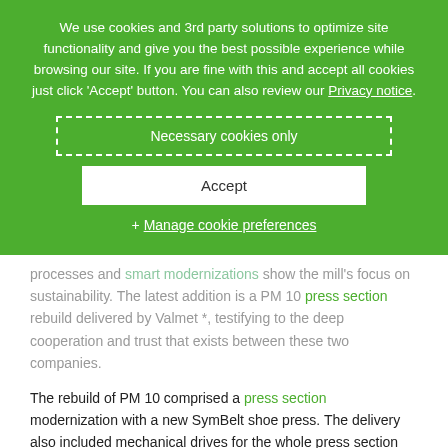We use cookies and 3rd party solutions to optimize site functionality and give you the best possible experience while browsing our site. If you are fine with this and accept all cookies just click 'Accept' button. You can also review our Privacy notice.
Necessary cookies only
Accept
+ Manage cookie preferences
processes and smart modernizations show the mill's focus on sustainability. The latest addition is a PM 10 press section rebuild delivered by Valmet *, testifying to the deep cooperation and trust that exists between these two companies.
The rebuild of PM 10 comprised a press section modernization with a new SymBelt shoe press. The delivery also included mechanical drives for the whole press section and an automation system upgrade for the shoe press. The SymBelt shoe press significantly increases sheet dryness which, in turn, reduces steam consumption, improves machine runnability, helps reach higher speeds and increases production.